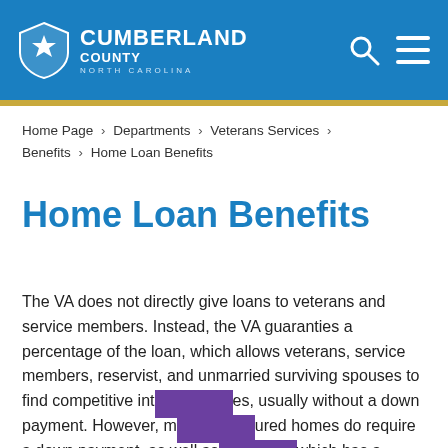Cumberland County North Carolina
Home Page > Departments > Veterans Services > Benefits > Home Loan Benefits
Home Loan Benefits
The VA does not directly give loans to veterans and service members. Instead, the VA guaranties a percentage of the loan, which allows veterans, service members, reservist, and unmarried surviving spouses to find competitive interest rates, usually without a down payment. However, manufactured homes do require a down payment, as well as any which has a purchase price greater than the estimated value.